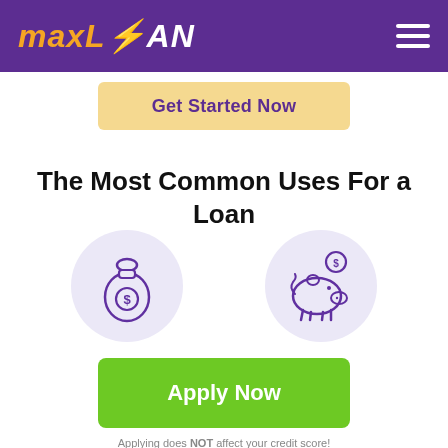maxLOAN
Get Started Now
The Most Common Uses For a Loan
[Figure (illustration): Two circular icons on a light purple background: a money bag with a dollar sign on the left, and a piggy bank with a coin on the right]
Apply Now
Applying does NOT affect your credit score! No credit check to apply.